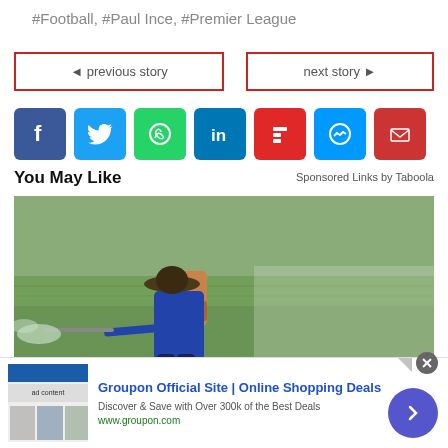#Football, #Paul Ince, #Premier League
◄ previous story
next story ►
[Figure (other): Social media share icons: Facebook, Twitter, WhatsApp, LinkedIn, Flipboard, Messenger, Email]
You May Like
Sponsored Links by Taboola
[Figure (photo): Person wearing a wide-brimmed hat and blue long-sleeve shirt spraying pesticide in a green rice field, with a sprayer backpack on their back]
Groupon Official Site | Online Shopping Deals
Discover & Save with Over 300k of the Best Deals
www.groupon.com